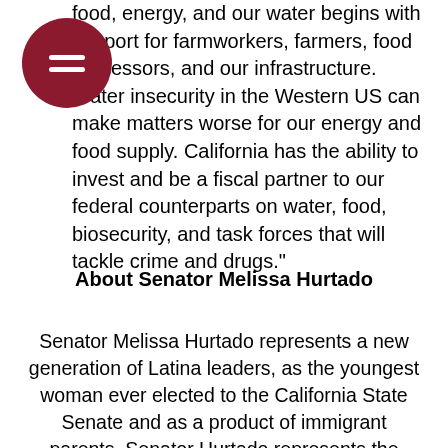food, energy, and our water begins with support for farmworkers, farmers, food processors, and our infrastructure. Water insecurity in the Western US can make matters worse for our energy and food supply. California has the ability to invest and be a fiscal partner to our federal counterparts on water, food, biosecurity, and task forces that will tackle crime and drugs."
About Senator Melissa Hurtado
Senator Melissa Hurtado represents a new generation of Latina leaders, as the youngest woman ever elected to the California State Senate and as a product of immigrant parents. Senator Hurtado represents the 14th Senate District and